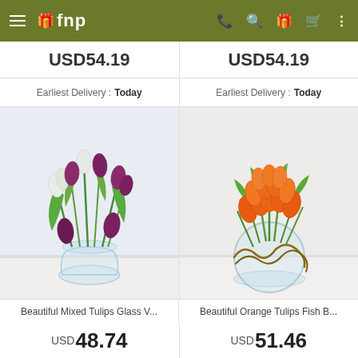fnp navigation header with hamburger menu, logo, phone, search, gift, cart, and more icons
USD54.19
USD54.19
Earliest Delivery : Today
Earliest Delivery : Today
[Figure (photo): Mixed tulips (white and purple/magenta) in a clear glass round vase on a white surface]
[Figure (photo): Orange tulips in a clear glass fish bowl vase with twigs wrapped around it, on a white surface]
Beautiful Mixed Tulips Glass V...
Beautiful Orange Tulips Fish B...
USD48.74
USD51.46